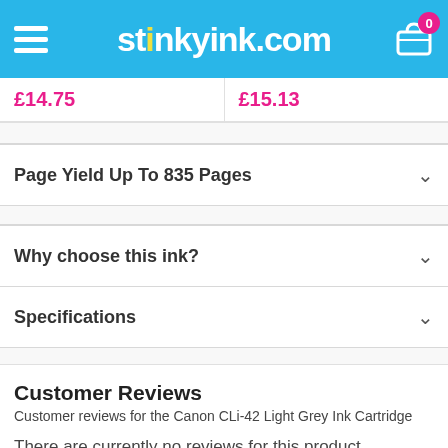Stinkyink.com
£14.75  £15.13
Page Yield Up To 835 Pages
Why choose this ink?
Specifications
Customer Reviews
Customer reviews for the Canon CLi-42 Light Grey Ink Cartridge
There are currently no reviews for this product.